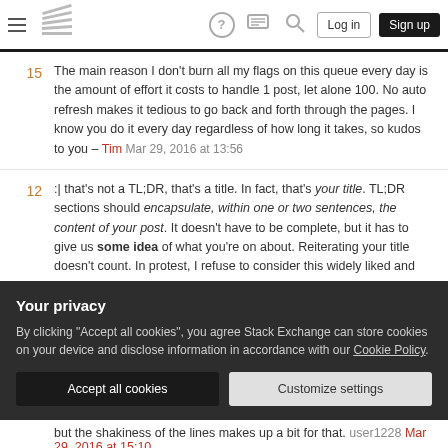Stack Exchange navigation bar with hamburger menu, logo, help, feedback, search icons, Log in and Sign up buttons
15  The main reason I don't burn all my flags on this queue every day is the amount of effort it costs to handle 1 post, let alone 100. No auto refresh makes it tedious to go back and forth through the pages. I know you do it every day regardless of how long it takes, so kudos to you – Tim  Mar 29, 2016 at 13:56
12  :| that's not a TL;DR, that's a title. In fact, that's your title. TL;DR sections should encapsulate, within one or two sentences, the content of your post. It doesn't have to be complete, but it has to give us some idea of what you're on about. Reiterating your title doesn't count. In protest, I refuse to consider this widely liked and highly upvoted feature request. And that matters
Your privacy  By clicking "Accept all cookies", you agree Stack Exchange can store cookies on your device and disclose information in accordance with our Cookie Policy.  Accept all cookies  Customize settings
but the shakiness of the lines makes up a bit for that.  user1228  Mar 29, 2016 at 15:10